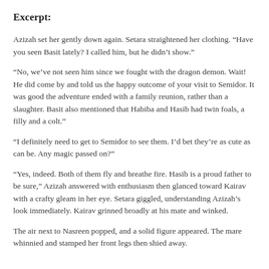Excerpt:
Azizah set her gently down again. Setara straightened her clothing. “Have you seen Basit lately? I called him, but he didn’t show.”
“No, we’ve not seen him since we fought with the dragon demon. Wait! He did come by and told us the happy outcome of your visit to Semidor. It was good the adventure ended with a family reunion, rather than a slaughter. Basit also mentioned that Habiba and Hasib had twin foals, a filly and a colt.”
“I definitely need to get to Semidor to see them. I’d bet they’re as cute as can be. Any magic passed on?”
“Yes, indeed. Both of them fly and breathe fire. Hasib is a proud father to be sure,” Azizah answered with enthusiasm then glanced toward Kairav with a crafty gleam in her eye. Setara giggled, understanding Azizah’s look immediately. Kairav grinned broadly at his mate and winked.
The air next to Nasreen popped, and a solid figure appeared. The mare whinnied and stamped her front legs then shied away.